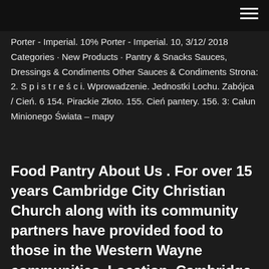Porter - Imperial. 10% Porter - Imperial. 10, 3/12/ 2018 Categories · New Products · Pantry & Snacks Sauces, Dressings & Condiments Other Sauces & Condiments Strona: 2. S p i s t r e ś c i. Wprowadzenie. Jednostki Lochu. Zabójca / Cień. 6 154. Pirackie Złoto. 155. Cień pantery. 156. 3: Całun Minionego Świata – mapy
Food Pantry About Us . For over 15 years Cambridge City Christian Church along with its community partners have provided food to those in the Western Wayne communities. Location. Cambridge City Christian Church: 106 W. Church St. Cambridge City, IN 47327 . When We Are Open. 3rd Saturday Of Each Month – 9-